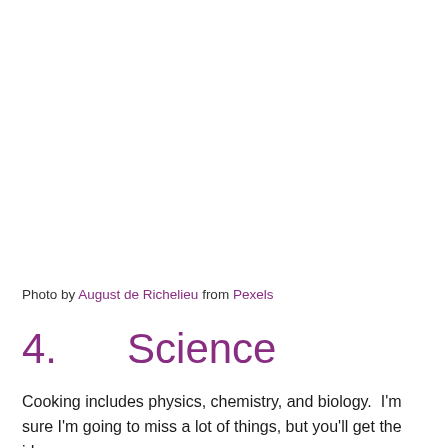Photo by August de Richelieu from Pexels
4.      Science
Cooking includes physics, chemistry, and biology.  I'm sure I'm going to miss a lot of things, but you'll get the idea.